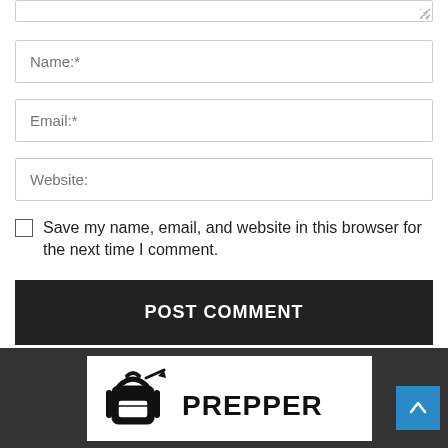[Figure (screenshot): Textarea input stub at the top (partially visible, bottom portion showing with resize handle)]
Name:*
Email:*
Website:
Save my name, email, and website in this browser for the next time I comment.
POST COMMENT
[Figure (logo): Prepper website logo with backpack icon and PREPPER text in bold uppercase]